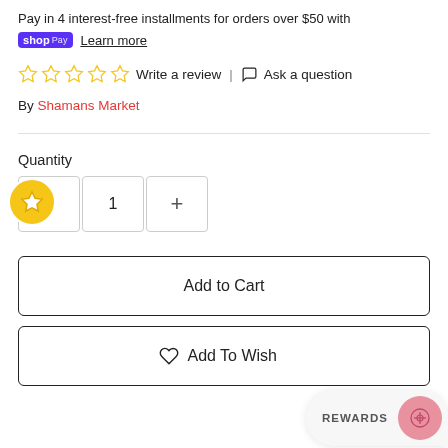Pay in 4 interest-free installments for orders over $50 with shop Pay Learn more
☆ ☆ ☆ ☆ ☆ Write a review | Ask a question
By Shamans Market
Quantity
[Figure (other): Quantity selector with minus button, value 1, and plus button]
Add to Cart
♡ Add To Wishlist
[Figure (other): Rewards badge overlay with pink circle icon]